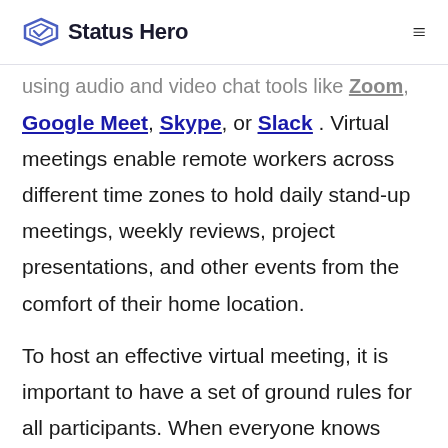Status Hero
using audio and video chat tools like Zoom, Google Meet, Skype, or Slack. Virtual meetings enable remote workers across different time zones to hold daily stand-up meetings, weekly reviews, project presentations, and other events from the comfort of their home location.
To host an effective virtual meeting, it is important to have a set of ground rules for all participants. When everyone knows what to expect from a meeting, they can be more